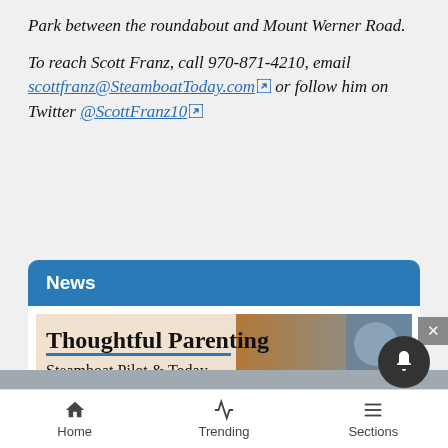Park between the roundabout and Mount Werner Road.
To reach Scott Franz, call 970-871-4210, email scottfranz@SteamboatToday.com or follow him on Twitter @ScottFranz10
News
[Figure (illustration): Thoughtful Parenting - Steamboat Pilot & Today banner image showing hands joined together, with RCYSC badge overlay]
Home  Trending  Sections